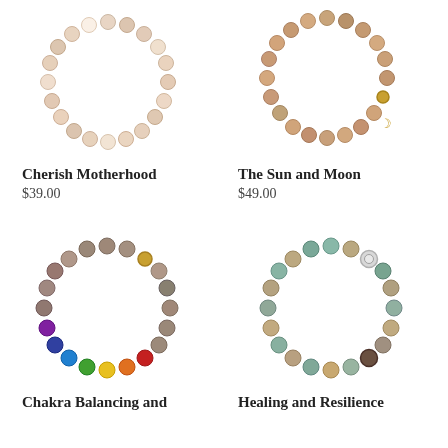[Figure (photo): Beaded bracelet - Cherish Motherhood, peach/white moonstone beads in circle]
Cherish Motherhood
$39.00
[Figure (photo): Beaded bracelet - The Sun and Moon, peach/tan beads with crescent moon charm]
The Sun and Moon
$49.00
[Figure (photo): Beaded bracelet - Chakra Balancing and Growth, multi-colored chakra beads]
Chakra Balancing and Growth
[Figure (photo): Beaded bracelet - Healing and Resilience, amazonite and mixed stone beads with sun charm]
Healing and Resilience